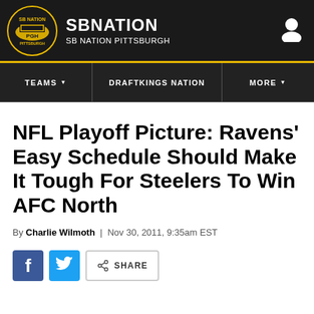SB NATION / SB NATION PITTSBURGH
NFL Playoff Picture: Ravens' Easy Schedule Should Make It Tough For Steelers To Win AFC North
By Charlie Wilmoth | Nov 30, 2011, 9:35am EST
SHARE